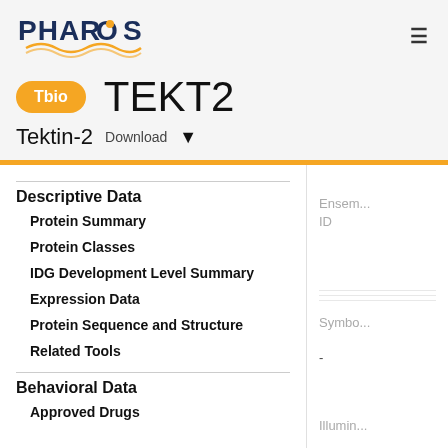PHAROS
Tbio  TEKT2
Tektin-2  Download
Descriptive Data
Protein Summary
Protein Classes
IDG Development Level Summary
Expression Data
Protein Sequence and Structure
Related Tools
Behavioral Data
Approved Drugs
Ensem... ID
Symbo...
Illumin...